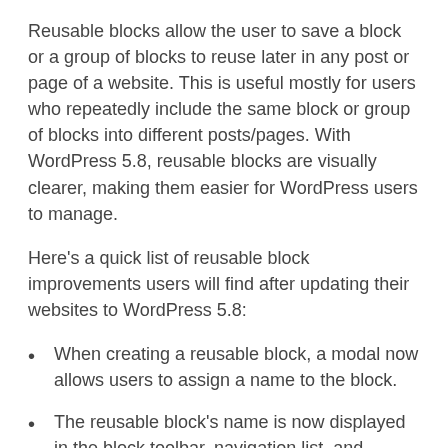Reusable blocks allow the user to save a block or a group of blocks to reuse later in any post or page of a website. This is useful mostly for users who repeatedly include the same block or group of blocks into different posts/pages. With WordPress 5.8, reusable blocks are visually clearer, making them easier for WordPress users to manage.
Here's a quick list of reusable block improvements users will find after updating their websites to WordPress 5.8:
When creating a reusable block, a modal now allows users to assign a name to the block.
The reusable block's name is now displayed in the block toolbar, navigation list, and breadcrumbs.
When a child block is selected, reusable blocks are now outlined. This marks a significant improvement in usability as it allows you to easily identify the parent